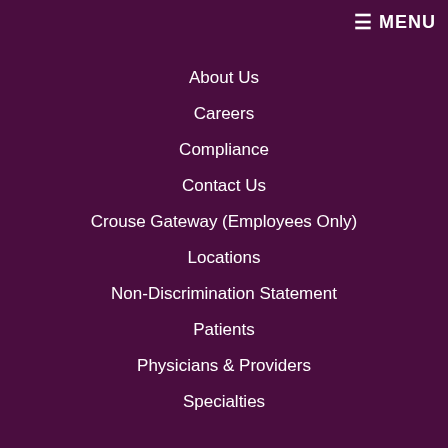≡ MENU
About Us
Careers
Compliance
Contact Us
Crouse Gateway (Employees Only)
Locations
Non-Discrimination Statement
Patients
Physicians & Providers
Specialties